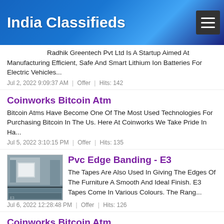India Classifieds
Radhik Greentech Pvt Ltd Is A Startup Aimed At Manufacturing Efficient, Safe And Smart Lithium Ion Batteries For Electric Vehicles...
Jul 2, 2022 9:09:37 AM  |  Offer  |  Hits: 142
Coinworks Bitcoin Atm
Bitcoin Atms Have Become One Of The Most Used Technologies For Purchasing Bitcoin In The Us. Here At Coinworks We Take Pride In Ha...
Jul 5, 2022 3:10:15 PM  |  Offer  |  Hits: 135
[Figure (photo): Thumbnail image for Pvc Edge Banding - E3 listing showing furniture/interior]
Pvc Edge Banding - E3
The Tapes Are Also Used In Giving The Edges Of The Furniture A Smooth And Ideal Finish. E3 Tapes Come In Various Colours. The Rang...
Jul 6, 2022 12:28:48 PM  |  Offer  |  Hits: 126
Coinworks Bitcoin Atm.
Bitcoin Atms Have Become One Of The Most Used Technologies For Purchasing Bitcoin In The Us. Here At Coinworks We Take Pride In Ha...